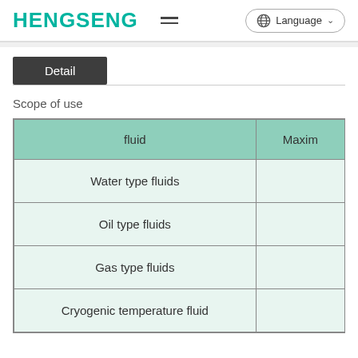HENGSENG | Language
Detail
Scope of use
| fluid | Maxim |
| --- | --- |
| Water type fluids |  |
| Oil type fluids |  |
| Gas type fluids |  |
| Cryogenic temperature fluid |  |